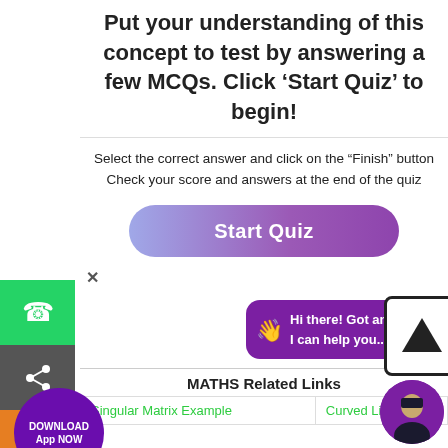Put your understanding of this concept to test by answering a few MCQs. Click ‘Start Quiz’ to begin!
Select the correct answer and click on the “Finish” button
Check your score and answers at the end of the quiz
[Figure (screenshot): Start Quiz button with purple gradient background]
[Figure (screenshot): Chat bubble: Hi there! Got any questions? I can help you...]
[Figure (screenshot): Upload/share arrow button]
MATHS Related Links
| Singular Matrix Example | Curved Line |